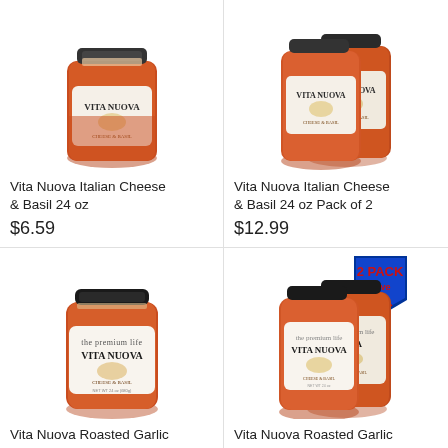[Figure (photo): Vita Nuova Italian Cheese & Basil pasta sauce jar, 24 oz single]
Vita Nuova Italian Cheese & Basil 24 oz
$6.59
[Figure (photo): Vita Nuova Italian Cheese & Basil pasta sauce jar, 24 oz Pack of 2]
Vita Nuova Italian Cheese & Basil 24 oz Pack of 2
$12.99
[Figure (photo): Vita Nuova Roasted Garlic and Basil pasta sauce jar, 24 oz single]
Vita Nuova Roasted Garlic and Basil24 oz
$6.59
[Figure (photo): Vita Nuova Roasted Garlic and Basil pasta sauce jar, 24 oz Pack of 2, with 2 PACK Save badge]
Vita Nuova Roasted Garlic and Basil 24 oz Pack of 2
$12.99